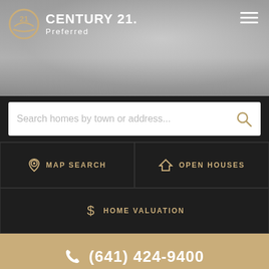[Figure (logo): Century 21 Preferred logo with circular C21 emblem and white text on dark hero banner with kitchen background]
Search homes by town or address...
MAP SEARCH
OPEN HOUSES
HOME VALUATION
(641) 424-9400
1428 S 3rd Street
Clear Lake, IA 50428-2706